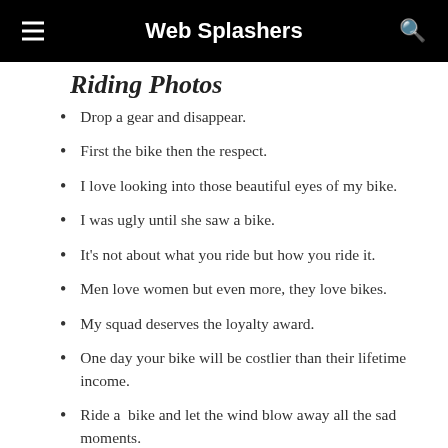Web Splashers
Riding Photos
Drop a gear and disappear.
First the bike then the respect.
I love looking into those beautiful eyes of my bike.
I was ugly until she saw a bike.
It's not about what you ride but how you ride it.
Men love women but even more, they love bikes.
My squad deserves the loyalty award.
One day your bike will be costlier than their lifetime income.
Ride a  bike and let the wind blow away all the sad moments.
Ride hard let this world know who you are.